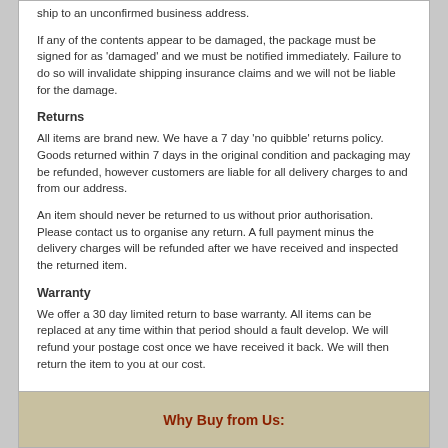ship to an unconfirmed business address.
If any of the contents appear to be damaged, the package must be signed for as 'damaged' and we must be notified immediately. Failure to do so will invalidate shipping insurance claims and we will not be liable for the damage.
Returns
All items are brand new. We have a 7 day 'no quibble' returns policy. Goods returned within 7 days in the original condition and packaging may be refunded, however customers are liable for all delivery charges to and from our address.
An item should never be returned to us without prior authorisation. Please contact us to organise any return. A full payment minus the delivery charges will be refunded after we have received and inspected the returned item.
Warranty
We offer a 30 day limited return to base warranty. All items can be replaced at any time within that period should a fault develop. We will refund your postage cost once we have received it back. We will then return the item to you at our cost.
Why Buy from Us: